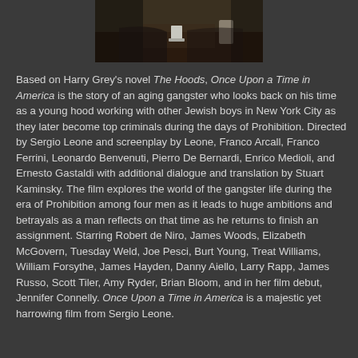[Figure (photo): Partial movie still from Once Upon a Time in America, showing a dark scene at a table]
Based on Harry Grey's novel The Hoods, Once Upon a Time in America is the story of an aging gangster who looks back on his time as a young hood working with other Jewish boys in New York City as they later become top criminals during the days of Prohibition. Directed by Sergio Leone and screenplay by Leone, Franco Arcall, Franco Ferrini, Leonardo Benvenuti, Pierro De Bernardi, Enrico Medioli, and Ernesto Gastaldi with additional dialogue and translation by Stuart Kaminsky. The film explores the world of the gangster life during the era of Prohibition among four men as it leads to huge ambitions and betrayals as a man reflects on that time as he returns to finish an assignment. Starring Robert de Niro, James Woods, Elizabeth McGovern, Tuesday Weld, Joe Pesci, Burt Young, Treat Williams, William Forsythe, James Hayden, Danny Aiello, Larry Rapp, James Russo, Scott Tiler, Amy Ryder, Brian Bloom, and in her film debut, Jennifer Connelly. Once Upon a Time in America is a majestic yet harrowing film from Sergio Leone.